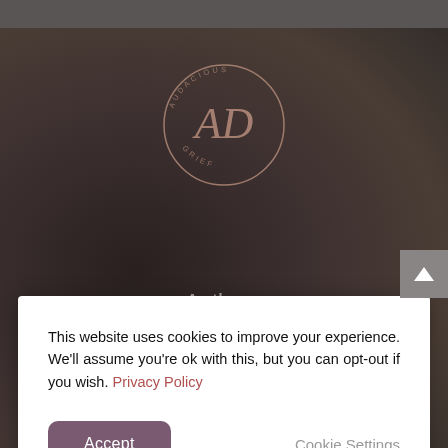[Figure (logo): Circular logo with 'AD' monogram in rose gold and text 'AUDACIOUS GRIEF' around the circle border]
This website uses cookies to improve your experience. We'll assume you're ok with this, but you can opt-out if you wish. Privacy Policy
Accept
Cookie Settings
Author
Facilitator
Speaker
Podcast Host